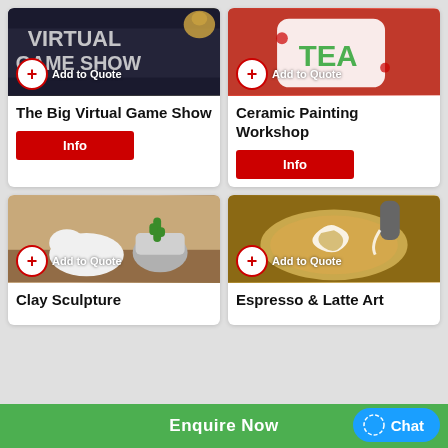[Figure (photo): The Big Virtual Game Show – screenshot of virtual game show with stuffed animals and bold text backdrop]
The Big Virtual Game Show
Info
[Figure (photo): Ceramic Painting Workshop – hands painting a ceramic mug with TEA lettering]
Ceramic Painting Workshop
Info
[Figure (photo): Clay Sculpture – white clay animal sculptures and a cactus on a wooden table]
Clay Sculpture
[Figure (photo): Espresso & Latte Art – overhead view of latte art being poured into a coffee cup]
Espresso & Latte Art
Enquire Now
Chat